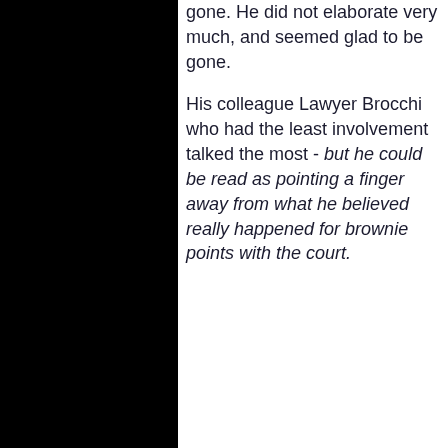gone. He did not elaborate very much, and seemed glad to be gone.
His colleague Lawyer Brocchi who had the least involvement talked the most - but he could be read as pointing a finger away from what he believed really happened for brownie points with the court.